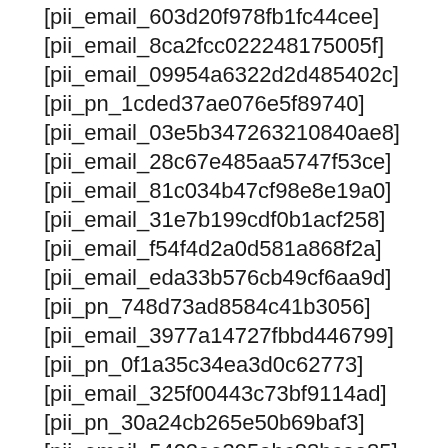[pii_email_603d20f978fb1fc44cee]
[pii_email_8ca2fcc022248175005f]
[pii_email_09954a6322d2d485402c]
[pii_pn_1cded37ae076e5f89740]
[pii_email_03e5b347263210840ae8]
[pii_email_28c67e485aa5747f53ce]
[pii_email_81c034b47cf98e8e19a0]
[pii_email_31e7b199cdf0b1acf258]
[pii_email_f54f4d2a0d581a868f2a]
[pii_email_eda33b576cb49cf6aa9d]
[pii_pn_748d73ad8584c41b3056]
[pii_email_3977a14727fbbd446799]
[pii_pn_0f1a35c34ea3d0c62773]
[pii_email_325f00443c73bf9114ad]
[pii_pn_30a24cb265e50b69baf3]
[pii_email_5402ae395abc88bcaa85]